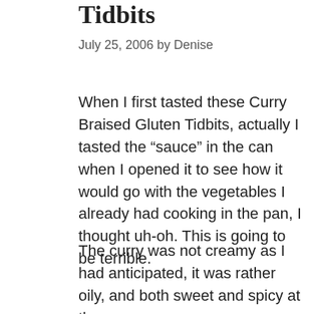Tidbits
July 25, 2006 by Denise
When I first tasted these Curry Braised Gluten Tidbits, actually I tasted the “sauce” in the can when I opened it to see how it would go with the vegetables I already had cooking in the pan, I thought uh-oh. This is going to be terrible.
The curry was not creamy as I had anticipated, it was rather oily, and both sweet and spicy at the same